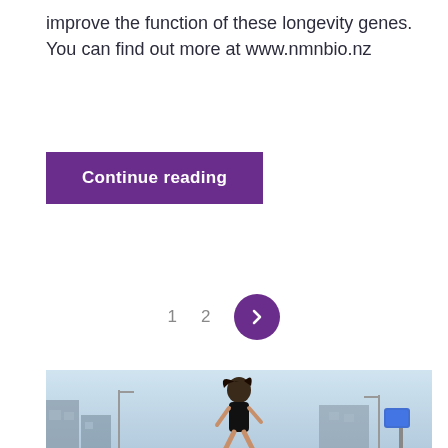improve the function of these longevity genes. You can find out more at www.nmnbio.nz
Continue reading
1  2  >
[Figure (photo): A woman with curly hair running outdoors in a city environment, wearing a black top, with buildings and street infrastructure in the background under a light blue sky.]